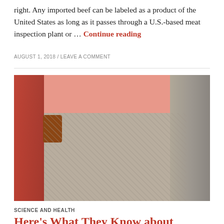right. Any imported beef can be labeled as a product of the United States as long as it passes through a U.S.-based meat inspection plant or … Continue reading
AUGUST 1, 2018 / LEAVE A COMMENT
[Figure (photo): Photo of people walking, showing a heavyset person in gray patterned pants and a pink top from behind, with another person in a red shirt to the left.]
SCIENCE AND HEALTH
Here's What They Know about Intermittent Fasting